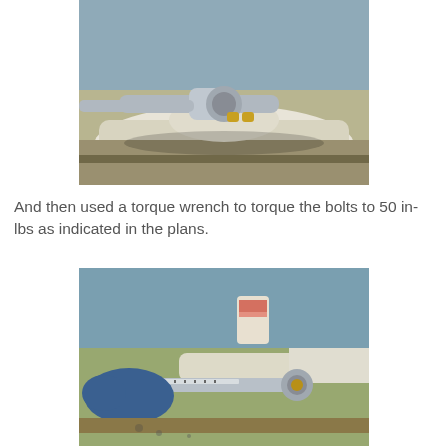[Figure (photo): Close-up photo of a ratchet wrench being used on a bracket with gold/brass bolts mounted on a white foam or composite surface, with a blue background.]
And then used a torque wrench to torque the bolts to 50 in-lbs as indicated in the plans.
[Figure (photo): Photo of a person wearing a blue latex glove holding a torque wrench applied to a bolt on a white bracket, with a cup visible in the background on a blue surface.]